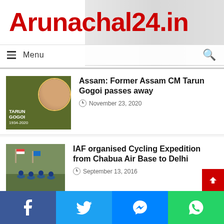Arunachal24.in
Menu
Assam: Former Assam CM Tarun Gogoi passes away
November 23, 2020
IAF organised Cycling Expedition from Chabua Air Base to Delhi
September 13, 2016
Assam: Webinar on ‘Insights into cybercrime and drug abuse’
June 9, 2020